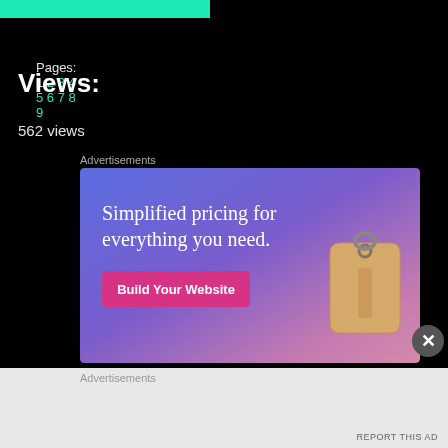[Figure (other): Teal/turquoise banner bar at top]
Pages: 1 2 3 4 5 6 7 8 9
Views:
562 views
Advertisements
[Figure (illustration): Advertisement banner: 'Simplified pricing for everything you need.' with a pink 'Build Your Website' button and a price tag illustration on a blue-purple gradient background.]
Advertisements
REPORT THIS AD